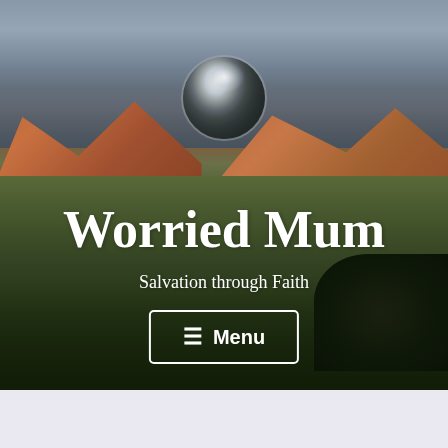[Figure (photo): Scenic landscape with rolling hills and mountains under a grey sky, valley with green fields in the foreground, dark trees on the right. A circular profile photo floats in the center showing a reflective sphere with sky reflection.]
Worried Mum
Salvation through Faith
☰ Menu